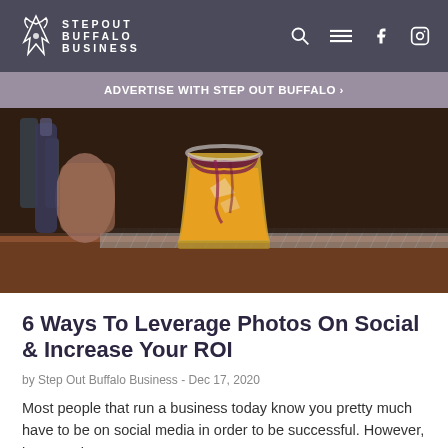STEP OUT BUFFALO BUSINESS
ADVERTISE WITH STEP OUT BUFFALO ›
[Figure (photo): A cocktail glass with an orange and purple layered drink sitting on a bar counter, with a hand and bottles visible in the blurred background.]
6 Ways To Leverage Photos On Social & Increase Your ROI
by Step Out Buffalo Business - Dec 17, 2020
Most people that run a business today know you pretty much have to be on social media in order to be successful. However, just creating